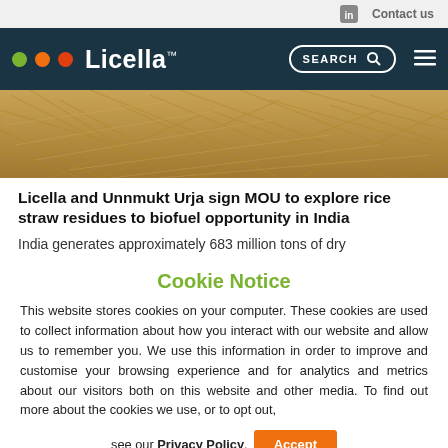Contact us
[Figure (screenshot): Licella website navigation bar with logo (three colored dots and Licella text), search box, and hamburger menu on dark teal background]
[Figure (photo): Close-up photo of dry rice straw residues, golden-brown color]
Licella and Unnmukt Urja sign MOU to explore rice straw residues to biofuel opportunity in India
India generates approximately 683 million tons of dry
Cookie Notice
This website stores cookies on your computer. These cookies are used to collect information about how you interact with our website and allow us to remember you. We use this information in order to improve and customise your browsing experience and for analytics and metrics about our visitors both on this website and other media. To find out more about the cookies we use, or to opt out, see our Privacy Policy.